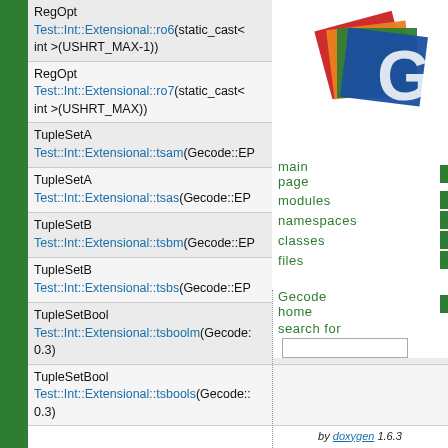RegOpt Test::Int::Extensional::ro6(static_cast< int >(USHRT_MAX-1))
RegOpt Test::Int::Extensional::ro7(static_cast< int >(USHRT_MAX))
TupleSetA Test::Int::Extensional::tsam(Gecode::EP...
TupleSetA Test::Int::Extensional::tsas(Gecode::EP...
TupleSetB Test::Int::Extensional::tsbm(Gecode::EP...
TupleSetB Test::Int::Extensional::tsbs(Gecode::EP...
TupleSetBool Test::Int::Extensional::tsboolm(Gecode::... 0.3)
TupleSetBool Test::Int::Extensional::tsbools(Gecode::... 0.3)
[Figure (logo): Gecode logo with colored cards (red, orange, green, blue)]
main page
modules
namespaces
classes
files
Gecode home
search for
Generated on Thu Mar 22 10:39:49 2012 for Gecode by doxygen 1.6.3